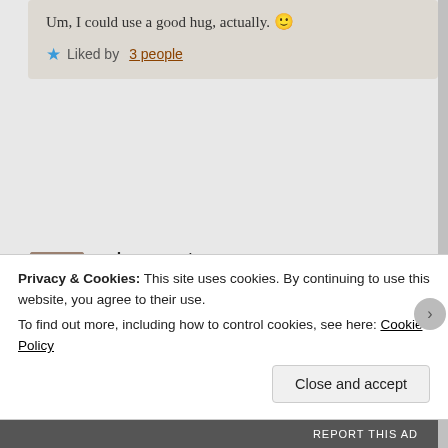Um, I could use a good hug, actually. 🙂
Liked by 3 people
aubreywursten says:
April 4, 2015 at 6:52 pm
This is a beautifully written article. For (primarily) religious reasons, I don't agree with gay marriage, but I will nevertheless use my limited culinary skills to bake pastries for...
Privacy & Cookies: This site uses cookies. By continuing to use this website, you agree to their use.
To find out more, including how to control cookies, see here: Cookie Policy
Close and accept